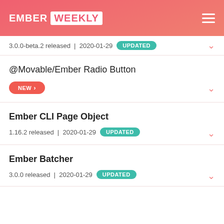EMBER WEEKLY
3.0.0-beta.2 released | 2020-01-29 UPDATED
@Movable/Ember Radio Button
NEW
Ember CLI Page Object
1.16.2 released | 2020-01-29 UPDATED
Ember Batcher
3.0.0 released | 2020-01-29 UPDATED